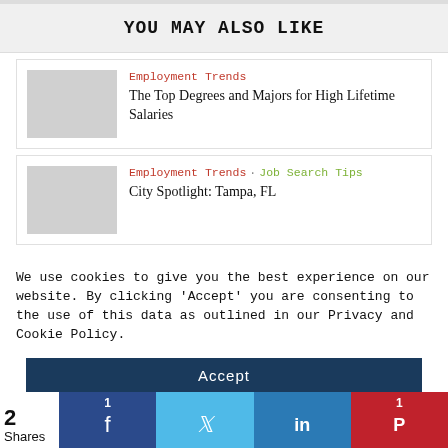YOU MAY ALSO LIKE
Employment Trends — The Top Degrees and Majors for High Lifetime Salaries
Employment Trends · Job Search Tips — City Spotlight: Tampa, FL
We use cookies to give you the best experience on our website. By clicking 'Accept' you are consenting to the use of this data as outlined in our Privacy and Cookie Policy.
2 Shares
1 Facebook, 1 Twitter, 1 LinkedIn, 1 Pinterest